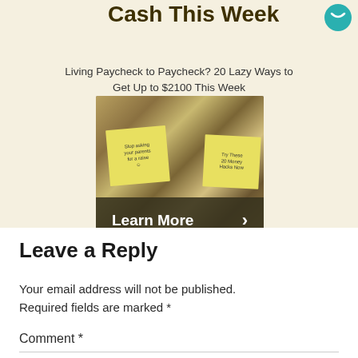[Figure (photo): Advertisement banner with cream background showing title 'Cash This Week', subtitle about living paycheck to paycheck, a photo of cash money with sticky notes, and a dark 'Learn More' button bar at bottom]
Leave a Reply
Your email address will not be published. Required fields are marked *
Comment *